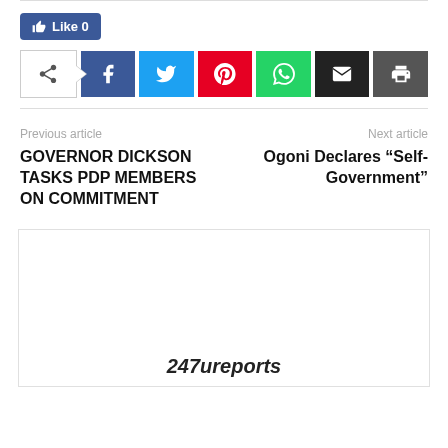[Figure (other): Facebook Like button showing count of 0]
[Figure (other): Social sharing bar with share toggle, Facebook, Twitter, Pinterest, WhatsApp, Email, and Print buttons]
Previous article
Next article
GOVERNOR DICKSON TASKS PDP MEMBERS ON COMMITMENT
Ogoni Declares “Self-Government”
[Figure (other): Advertisement box with 247ureports branding text visible at bottom]